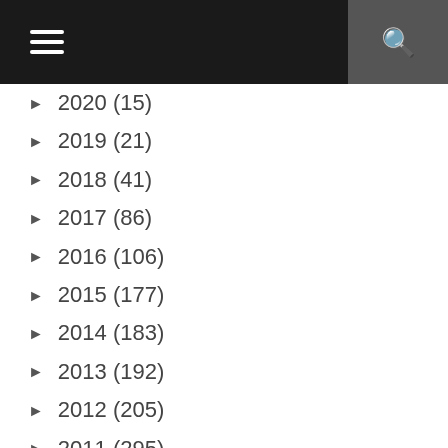Navigation header with hamburger menu and search icon
► 2020 (15)
► 2019 (21)
► 2018 (41)
► 2017 (86)
► 2016 (106)
► 2015 (177)
► 2014 (183)
► 2013 (192)
► 2012 (205)
► 2011 (295)
▼ 2010 (276)
Dec 2010 (27)
Nov 2010 (29)
Oct 2010 (23)
Sep 2010 (23)
Aug 2010 (34)
Jul 2010 (26)